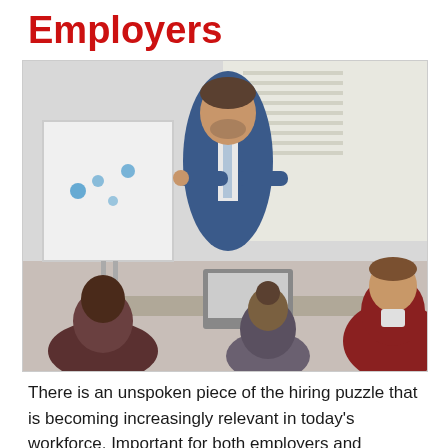Employers
[Figure (photo): A business meeting scene viewed from above: a man in a blue suit standing and presenting to three seated colleagues around a table with a laptop. A whiteboard with charts is visible in the background.]
There is an unspoken piece of the hiring puzzle that is becoming increasingly relevant in today’s workforce. Important for both employers and employees alike, interpersonal skills can make